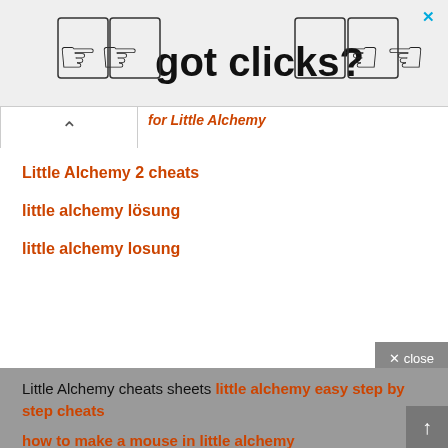[Figure (screenshot): Ad banner with pointing finger icons and text 'got clicks?']
for Little Alchemy (partial, orange italic)
Little Alchemy 2 cheats
little alchemy lösung
little alchemy losung
Little Alchemy cheats sheets little alchemy easy step by step cheats
how to make a mouse in little alchemy
how to make farmer in little alchemy
Cheat for little alchemy
#1 marketplace to buy and sell Buy and Sell Online Business